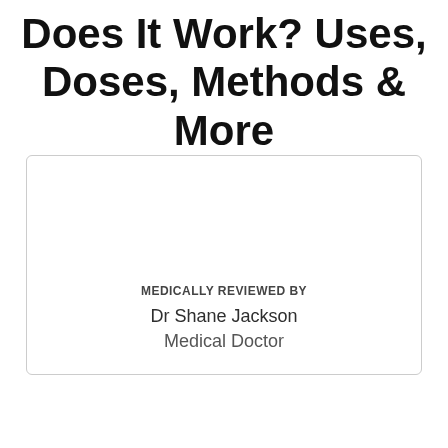Does It Work? Uses, Doses, Methods & More
By Ahmed Mir
[Figure (other): Rounded rectangle card containing medical review information with an image area at top and reviewer details at bottom]
MEDICALLY REVIEWED BY
Dr Shane Jackson
Medical Doctor